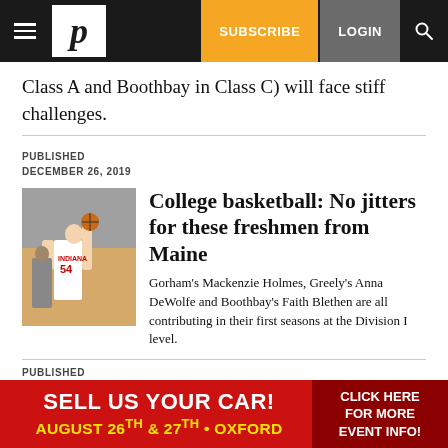P [logo] | SUBSCRIBE | LOGIN | [search]
Class A and Boothbay in Class C) will face stiff challenges.
PUBLISHED
DECEMBER 26, 2019
[Figure (photo): Basketball player wearing Indiana jersey number 54 reaching up to shoot or block]
College basketball: No jitters for these freshmen from Maine
Gorham's Mackenzie Holmes, Greely's Anna DeWolfe and Boothbay's Faith Blethen are all contributing in their first seasons at the Division I level.
PUBLISHED
[Figure (infographic): Red advertisement banner: SELL US YOUR CAR! AUGUST 26TH & 27TH • OXFORD | CLICK HERE FOR MORE EVENT INFO!]